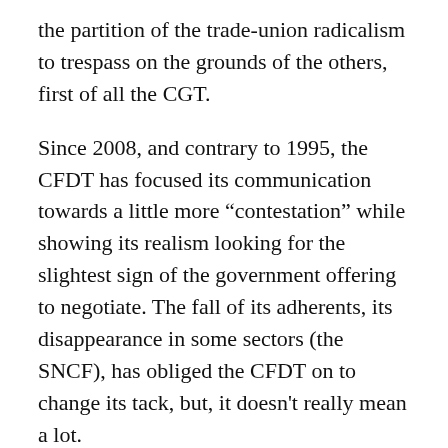the partition of the trade-union radicalism to trespass on the grounds of the others, first of all the CGT.
Since 2008, and contrary to 1995, the CFDT has focused its communication towards a little more “contestation” while showing its realism looking for the slightest sign of the government offering to negotiate. The fall of its adherents, its disappearance in some sectors (the SNCF), has obliged the CFDT on to change its tack, but, it doesn't really mean a lot.
CGT, evaluating the weakness of the forces in favour of the strikes, and contested by some militants shop-stewards, has, on the one hand called for as long as possible at the federal level for the prolongation of the movement, while in the same time, letting the rank and file pursue more “stronger” actions, like in the Nord-Pas de Calais.